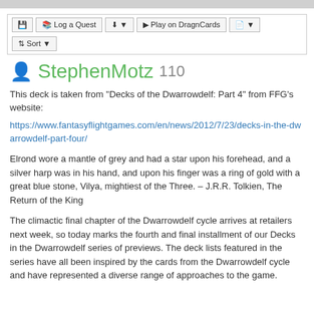[toolbar] Log a Quest | download | Play on DragnCards | copy | Sort
StephenMotz 110
This deck is taken from "Decks of the Dwarrowdelf: Part 4" from FFG's website:
https://www.fantasyflightgames.com/en/news/2012/7/23/decks-in-the-dwarrowdelf-part-four/
Elrond wore a mantle of grey and had a star upon his forehead, and a silver harp was in his hand, and upon his finger was a ring of gold with a great blue stone, Vilya, mightiest of the Three. – J.R.R. Tolkien, The Return of the King
The climactic final chapter of the Dwarrowdelf cycle arrives at retailers next week, so today marks the fourth and final installment of our Decks in the Dwarrowdelf series of previews. The deck lists featured in the series have all been inspired by the cards from the Dwarrowdelf cycle and have represented a diverse range of approaches to the game.